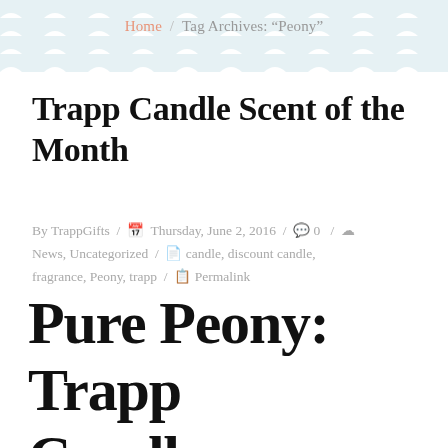Home / Tag Archives: "Peony"
Trapp Candle Scent of the Month
By TrappGifts / Thursday, June 2, 2016 / 0 / News, Uncategorized / candle, discount candle, fragrance, Peony, trapp / Permalink
Pure Peony: Trapp Candle Scent of the Month.